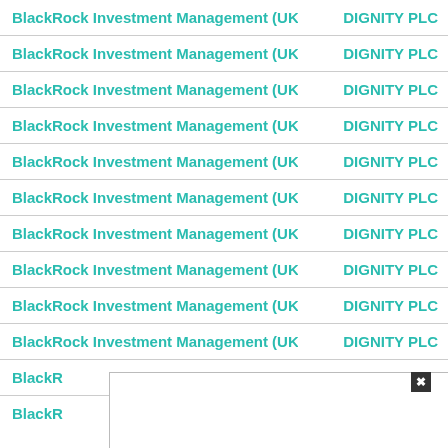|  |  |
| --- | --- |
| BlackRock Investment Management (UK) Limited | DIGNITY PLC |
| BlackRock Investment Management (UK) Limited | DIGNITY PLC |
| BlackRock Investment Management (UK) Limited | DIGNITY PLC |
| BlackRock Investment Management (UK) Limited | DIGNITY PLC |
| BlackRock Investment Management (UK) Limited | DIGNITY PLC |
| BlackRock Investment Management (UK) Limited | DIGNITY PLC |
| BlackRock Investment Management (UK) Limited | DIGNITY PLC |
| BlackRock Investment Management (UK) Limited | DIGNITY PLC |
| BlackRock Investment Management (UK) Limited | DIGNITY PLC |
| BlackRock Investment Management (UK) Limited | DIGNITY PLC |
| BlackR… | Y PLC |
| BlackR… | Y PLC |